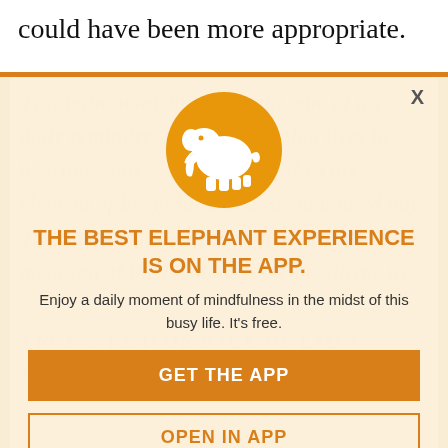could have been more appropriate.
[Figure (screenshot): App promotion modal overlay with elephant logo, orange circle icon, headline 'THE BEST ELEPHANT EXPERIENCE IS ON THE APP.', subtitle 'Enjoy a daily moment of mindfulness in the midst of this busy life. It's free.', a filled orange 'GET THE APP' button, and an outlined 'OPEN IN APP' button. A faint background text from the article is visible behind the modal.]
THE BEST ELEPHANT EXPERIENCE IS ON THE APP.
Enjoy a daily moment of mindfulness in the midst of this busy life. It's free.
GET THE APP
OPEN IN APP